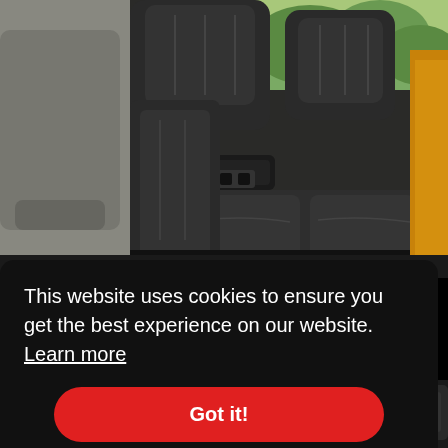[Figure (photo): Car interior photo showing dark leather rear seats of an SUV/truck, with center console armrest folded down, viewed from the side with door open. Gold/orange exterior visible on right side.]
This website uses cookies to ensure you get the best experience on our website. Learn more
Got it!
[Figure (photo): Partial view of car interior bottom section, showing dark trim and seat area.]